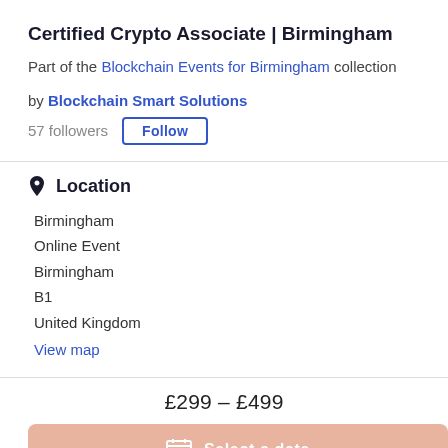Certified Crypto Associate | Birmingham
Part of the Blockchain Events for Birmingham collection
by Blockchain Smart Solutions
57 followers
Location
Birmingham
Online Event
Birmingham
B1
United Kingdom
View map
£299 – £499
Select a date